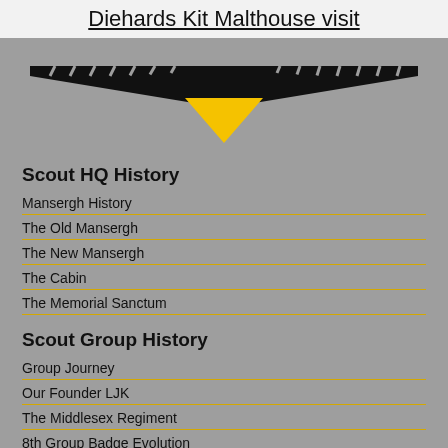Diehards Kit Malthouse visit
[Figure (logo): Black and yellow inverted triangle/chevron logo on grey background, resembling scout badge wings]
Scout HQ History
Mansergh History
The Old Mansergh
The New Mansergh
The Cabin
The Memorial Sanctum
Scout Group History
Group Journey
Our Founder LJK
The Middlesex Regiment
8th Group Badge Evolution
The Early Years